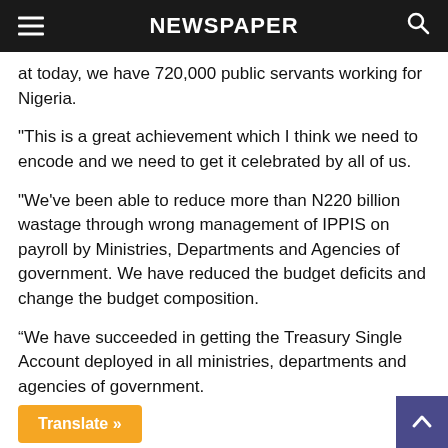NEWSPAPER
at today, we have 720,000 public servants working for Nigeria.
"This is a great achievement which I think we need to encode and we need to get it celebrated by all of us.
"We've been able to reduce more than N220 billion wastage through wrong management of IPPIS on payroll by Ministries, Departments and Agencies of government. We have reduced the budget deficits and change the budget composition.
“We have succeeded in getting the Treasury Single Account deployed in all ministries, departments and agencies of government.
Translate »